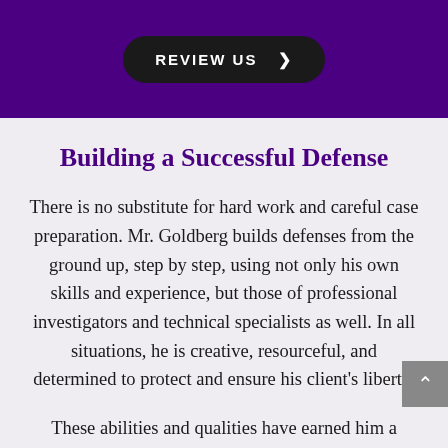[Figure (other): Purple banner background with a dark rounded button labeled REVIEW US with a right chevron arrow]
Building a Successful Defense
There is no substitute for hard work and careful case preparation. Mr. Goldberg builds defenses from the ground up, step by step, using not only his own skills and experience, but those of professional investigators and technical specialists as well. In all situations, he is creative, resourceful, and determined to protect and ensure his client’s liberty.
These abilities and qualities have earned him a strong